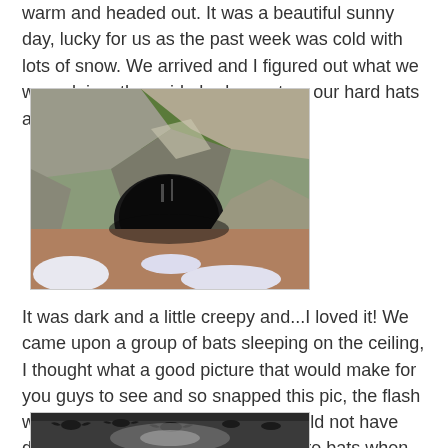warm and headed out. It was a beautiful sunny day, lucky for us as the past week was cold with lots of snow. We arrived and I figured out what we were doing, the guide had us put on our hard hats and got ready to enter the cave.
[Figure (photo): Photograph of a cave entrance with rocky walls, moss growing on the stones, and a dark opening leading inside. Snow is visible on the ground in the foreground.]
It was dark and a little creepy and...I loved it! We came upon a group of bats sleeping on the ceiling, I thought what a good picture that would make for you guys to see and so snapped this pic, the flash was very bright, yeah probably should not have done that, you really should not scare bats when you are trapped in a cave with hundreds of them.
[Figure (photo): Photograph taken inside a cave showing bats on the ceiling, partially visible at the bottom of the page.]